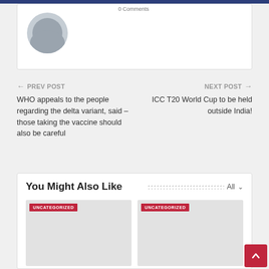[Figure (screenshot): Partial comment/profile card with avatar placeholder and comment count text at top]
← PREV POST
NEXT POST →
WHO appeals to the people regarding the delta variant, said – those taking the vaccine should also be careful
ICC T20 World Cup to be held outside India!
You Might Also Like
[Figure (photo): Article thumbnail placeholder – UNCATEGORIZED badge, grey image]
[Figure (photo): Article thumbnail placeholder – UNCATEGORIZED badge, grey image]
Delhi model virtual school
India's unemployment rate